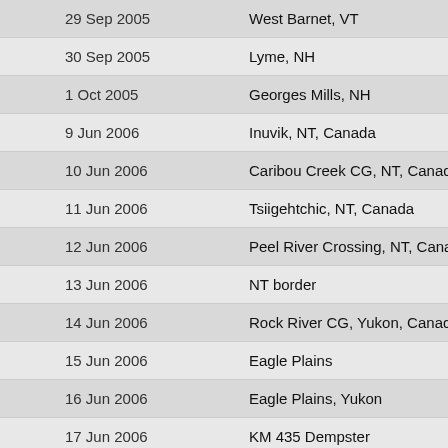| Date | Start | End |
| --- | --- | --- |
| 29 Sep 2005 | West Barnet, VT | Lyme, NH |
| 30 Sep 2005 | Lyme, NH | Canaan, NH |
| 1 Oct 2005 | Georges Mills, NH | Manchester |
| 9 Jun 2006 | Inuvik, NT, Canada | Caribou Cre… |
| 10 Jun 2006 | Caribou Creek CG, NT, Canada | Tsiigehtchic… |
| 11 Jun 2006 | Tsiigehtchic, NT, Canada | Peel River C… |
| 12 Jun 2006 | Peel River Crossing, NT, Canada | NT/Yukon B… |
| 13 Jun 2006 | NT border | Rock River … |
| 14 Jun 2006 | Rock River CG, Yukon, Canada | Eagle Plains |
| 15 Jun 2006 | Eagle Plains | Eagle Plains |
| 16 Jun 2006 | Eagle Plains, Yukon | Dempster K… |
| 17 Jun 2006 | KM 435 Dempster | Ogilivie Rive… |
| 18 Jun 2006 | Ogilvie River Overlook | Engineer Cr… |
| 19 Jun 2006 | Engineer Creek Campground | Chapman La… |